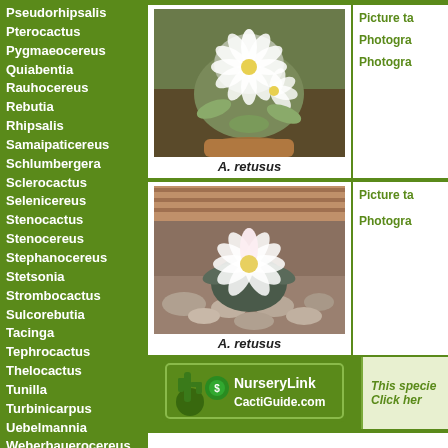Pseudorhipsalis
Pterocactus
Pygmaeocereus
Quiabentia
Rauhocereus
Rebutia
Rhipsalis
Samaipaticereus
Schlumbergera
Sclerocactus
Selenicereus
Stenocactus
Stenocereus
Stephanocereus
Stetsonia
Strombocactus
Sulcorebutia
Tacinga
Tephrocactus
Thelocactus
Tunilla
Turbinicarpus
Uebelmannia
Weberbauer ocereus
Weberocereus
xPacherocactus
Yavia
Yungasocereus
[Figure (photo): A. retusus cactus in flower with white blooms in a brown pot]
A. retusus
Picture ta
Photogra
Photogra
[Figure (photo): A. retusus cactus in flower with white and pink blooms on a rock-covered surface]
A. retusus
Picture ta
Photogra
[Figure (logo): NurseryLink CactiGuide.com logo with cactus icon]
This specie
Click her